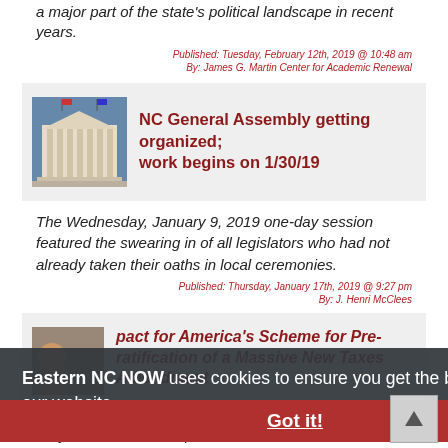a major part of the state's political landscape in recent years.
Published: Tuesday, February 12th, 2019 @ 10:48 am
By: James G. Martin Center for Academic Renewal
NC General Assembly getting organized; work begins on 1/30/19
The Wednesday, January 9, 2019 one-day session featured the swearing in of all legislators who had not already taken their oaths in local ceremonies.
Published: Thursday, January 17th, 2019 @ 9:27 pm
By: J. Henri McClees
pact for America's Scheme for Pre-ratification of a Massive New Taxes Amendment
Eastern NC NOW uses cookies to ensure you get the best experience on our website. Learn More
Got it!
Do you remember the public discussions which wer